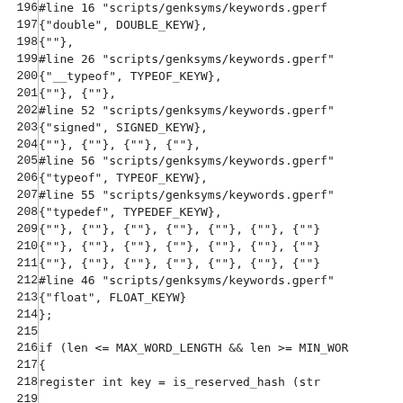Source code listing, lines 196-226, C code with genksyms keyword definitions and hash lookup logic.